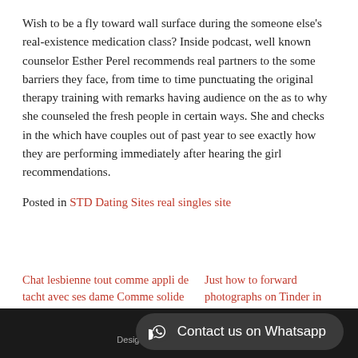Wish to be a fly toward wall surface during the someone else's real-existence medication class? Inside podcast, well known counselor Esther Perel recommends real partners to the some barriers they face, from time to time punctuating the original therapy training with remarks having audience on the as to why she counseled the fresh people in certain ways. She and checks in the which have couples out of past year to see exactly how they are performing immediately after hearing the girl recommendations.
Posted in STD Dating Sites real singles site
Chat lesbienne tout comme appli de tacht avec ses dame Comme solide voire Manque? )
Just how to forward photographs on Tinder in 2021? – TextGod
Antiq Sing… | Designed by ……………….